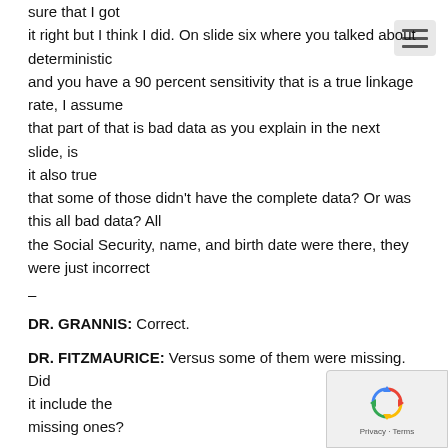sure that I got it right but I think I did. On slide six where you talked about deterministic and you have a 90 percent sensitivity that is a true linkage rate, I assume that part of that is bad data as you explain in the next slide, is it also true that some of those didn't have the complete data? Or was this all bad data? All the Social Security, name, and birth date were there, they were just incorrect
–
DR. GRANNIS: Correct.
DR. FITZMAURICE: Versus some of them were missing. Did it include the missing ones?